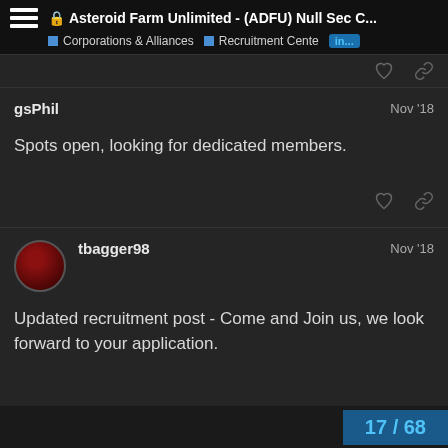Asteroid Farm Unlimited - (ADFU) Null Sec C... | Corporations & Alliances | Recruitment Cente | in...
gsPhil
Nov '18

Spots open, looking for dedicated members.
tbagger98
Nov '18

Updated recruitment post - Come and Join us, we look forward to your application.
17 / 68